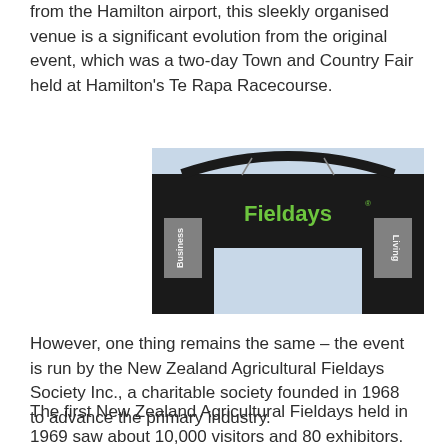from the Hamilton airport, this sleekly organised venue is a significant evolution from the original event, which was a two-day Town and Country Fair held at Hamilton's Te Rapa Racecourse.
[Figure (photo): Entrance gate/signage structure of the Fieldays event, showing a black arch with 'Fieldays' in green text on a large black sign, with two black pillars on either side reading 'Business' and 'Living', against a light blue sky.]
However, one thing remains the same – the event is run by the New Zealand Agricultural Fieldays Society Inc., a charitable society founded in 1968 to advance the primary industry.
The first New Zealand Agricultural Fieldays held in 1969 saw about 10,000 visitors and 80 exhibitors. Last year, a record 133,588 people visited the event, with 998 exhibitors across